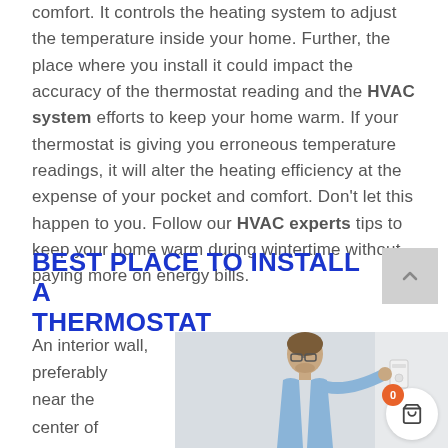comfort. It controls the heating system to adjust the temperature inside your home. Further, the place where you install it could impact the accuracy of the thermostat reading and the HVAC system efforts to keep your home warm. If your thermostat is giving you erroneous temperature readings, it will alter the heating efficiency at the expense of your pocket and comfort. Don't let this happen to you. Follow our HVAC experts tips to keep your home warm during wintertime without paying more on energy bills.
BEST PLACE TO INSTALL A THERMOSTAT
An interior wall, preferably near the center of
[Figure (photo): A man with glasses adjusting or installing a thermostat on a wall]